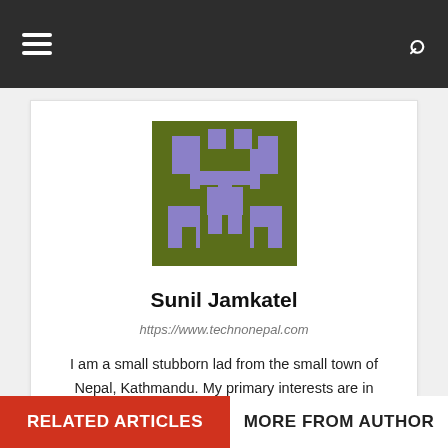[Figure (logo): Pixel art logo on dark olive/green background with purple/lavender geometric shapes forming an abstract character or robot face]
Sunil Jamkatel
https://www.technonepal.com
I am a small stubborn lad from the small town of Nepal, Kathmandu. My primary interests are in Blogging, Programming, Android Hardware and Software tweaking. I love watching movies and playing games (both outdoor and PC).
[Figure (infographic): Social media icons: Facebook (f) and Google+ (G+)]
RELATED ARTICLES
MORE FROM AUTHOR